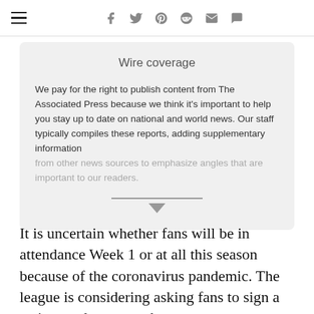Navigation bar with hamburger menu and social icons (Facebook, Twitter, Pinterest, Reddit, Email, Comment)
Wire coverage
We pay for the right to publish content from The Associated Press because we think it's important to help you stay up to date on national and world news. Our staff typically compiles these reports, adding supplementary information from other news sources to emphasize angles that are important to our readers.
It is uncertain whether fans will be in attendance Week 1 or at all this season because of the coronavirus pandemic. The league is considering asking fans to sign a waiver and wear masks